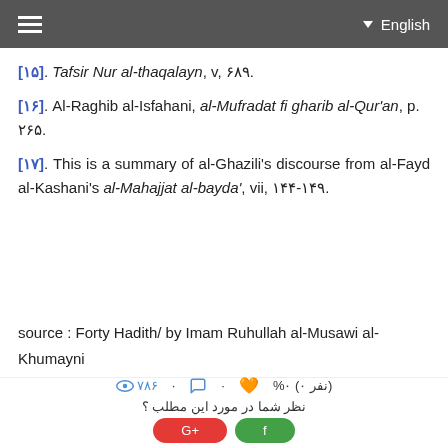English
[۱۵]. Tafsir Nur al-thaqalayn, v, ۶۸۹.
[۱۶]. Al-Raghib al-Isfahani, al-Mufradat fi gharib al-Qur'an, p. ۲۶۵.
[۱۷]. This is a summary of al-Ghazili's discourse from al-Fayd al-Kashani's al-Mahajjat al-bayda', vii, ۱۴۴-۱۴۹.
source : Forty Hadith/ by Imam Ruhullah al-Musawi al-Khumayni
۰% (نفر ۰) 🧡 · 💬 · ۷۸۶ 👁 نظر شما در مورد این مطلب ؟